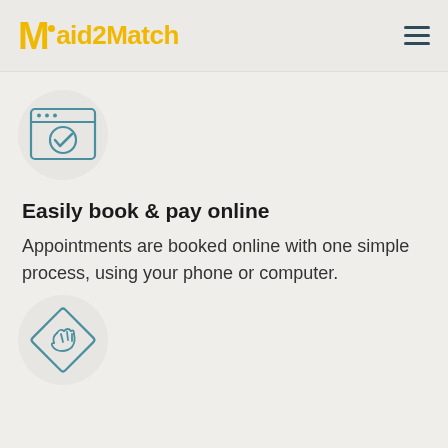Maid2Match
[Figure (illustration): Browser window icon with a checkmark circle inside, outline style in teal/blue-gray color]
Easily book & pay online
Appointments are booked online with one simple process, using your phone or computer.
[Figure (illustration): Hand wiping with a cloth diamond-shaped icon, outline style in teal/blue-gray color]